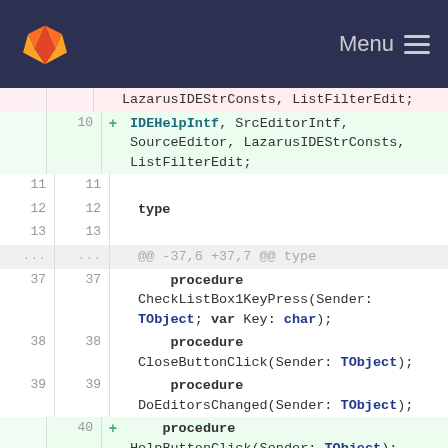GitLab — Menu
LazarusIDEStrConsts, ListFilterEdit;
10  +  IDEHelpIntf, SrcEditorIntf, SourceEditor, LazarusIDEStrConsts, ListFilterEdit;
11  11
12  12  type
13  13
...  ...  @@ -37,6 +37,7 @@ type
37  37      procedure CheckListBox1KeyPress(Sender: TObject; var Key: char);
38  38      procedure CloseButtonClick(Sender: TObject);
39  39      procedure DoEditorsChanged(Sender: TObject);
40  +      procedure HelpButtonClick(Sender: TObject);
40  41      procedure MoveDownBtnClick(Sender: TObject);
41  42      procedure MoveUpBtnClick(Sender: